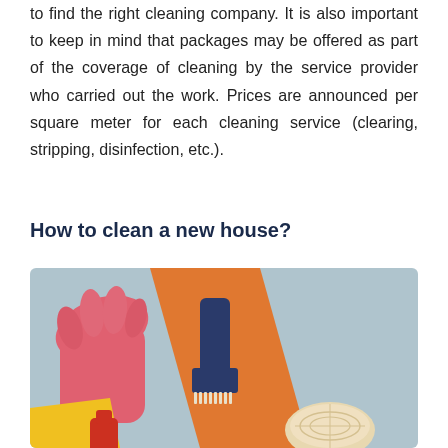to find the right cleaning company. It is also important to keep in mind that packages may be offered as part of the coverage of cleaning by the service provider who carried out the work. Prices are announced per square meter for each cleaning service (clearing, stripping, disinfection, etc.).
How to clean a new house?
[Figure (photo): Overhead view of cleaning supplies on a light blue background: pink rubber gloves, an orange cloth/towel with a dark blue brush on top, a yellow sponge or cloth at bottom left, and a cream-colored loofah/sponge at bottom right.]